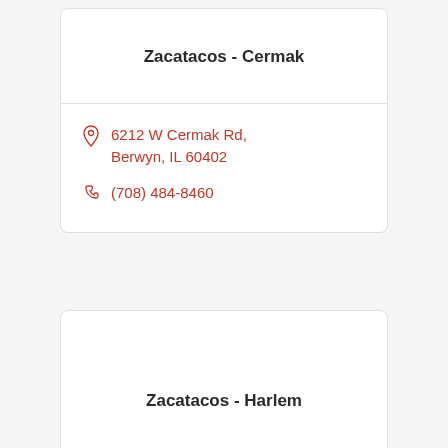Zacatacos - Cermak
6212 W Cermak Rd, Berwyn, IL 60402
(708) 484-8460
Zacatacos - Harlem